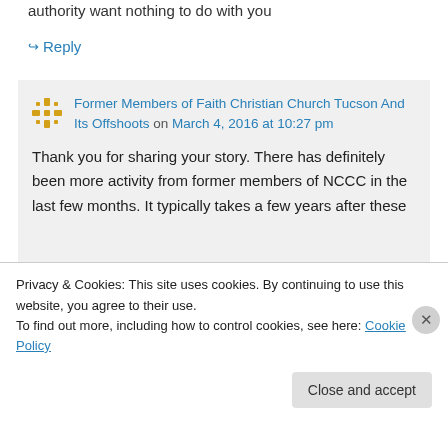authority  want nothing to do with you
↳ Reply
Former Members of Faith Christian Church Tucson And Its Offshoots on March 4, 2016 at 10:27 pm
Thank you for sharing your story. There has definitely been more activity from former members of NCCC in the last few months. It typically takes a few years after these
Privacy & Cookies: This site uses cookies. By continuing to use this website, you agree to their use. To find out more, including how to control cookies, see here: Cookie Policy
Close and accept